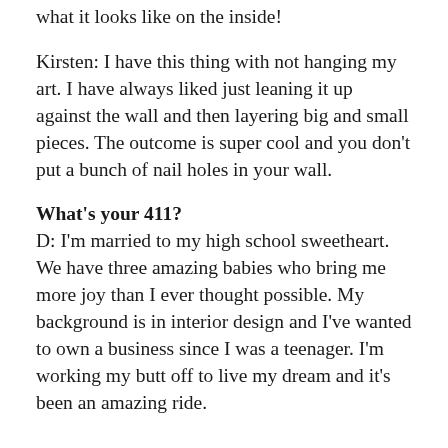what it looks like on the inside!
Kirsten: I have this thing with not hanging my art. I have always liked just leaning it up against the wall and then layering big and small pieces. The outcome is super cool and you don’t put a bunch of nail holes in your wall.
What’s your 411?
D: I’m married to my high school sweetheart. We have three amazing babies who bring me more joy than I ever thought possible. My background is in interior design and I’ve wanted to own a business since I was a teenager. I’m working my butt off to live my dream and it’s been an amazing ride.